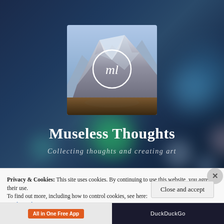[Figure (screenshot): Hero image of a blog website called Museless Thoughts, showing a mountain landscape photo with a circular 'ml' logo, against a dark blue bokeh background]
Museless Thoughts
Collecting thoughts and creating art
Privacy & Cookies: This site uses cookies. By continuing to use this website, you agree to their use.
To find out more, including how to control cookies, see here: Cookie Policy
Close and accept
[Figure (screenshot): Bottom ad bar showing 'All in One Free App' button in orange and 'DuckDuckGo' text on dark background]